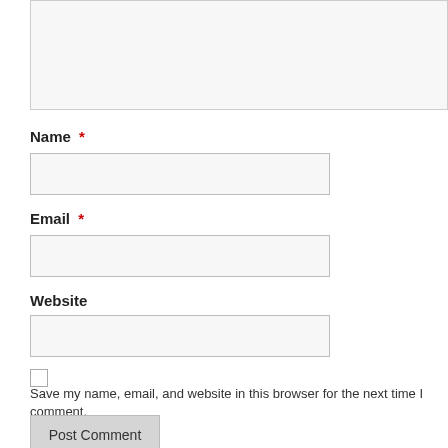[Figure (screenshot): Textarea input field (top, partially visible, light gray background with border)]
Name *
[Figure (screenshot): Name text input field (light gray background with border)]
Email *
[Figure (screenshot): Email text input field (light gray background with border)]
Website
[Figure (screenshot): Website text input field (light gray background with border)]
Save my name, email, and website in this browser for the next time I comment.
Post Comment